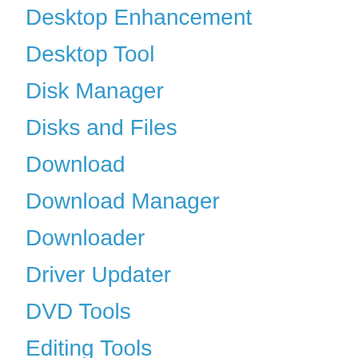Desktop Enhancement
Desktop Tool
Disk Manager
Disks and Files
Download
Download Manager
Downloader
Driver Updater
DVD Tools
Editing Tools
Educational Software
Entertainment
File Management
File Transfer